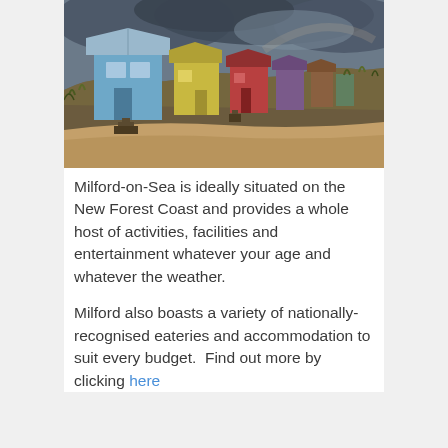[Figure (photo): Colorful beach huts on a shingle beach with grassy dunes and a dramatic stormy grey sky. The huts are blue, yellow and red, situated on a slope above the beach.]
Milford-on-Sea is ideally situated on the New Forest Coast and provides a whole host of activities, facilities and entertainment whatever your age and whatever the weather.
Milford also boasts a variety of nationally-recognised eateries and accommodation to suit every budget.  Find out more by clicking here